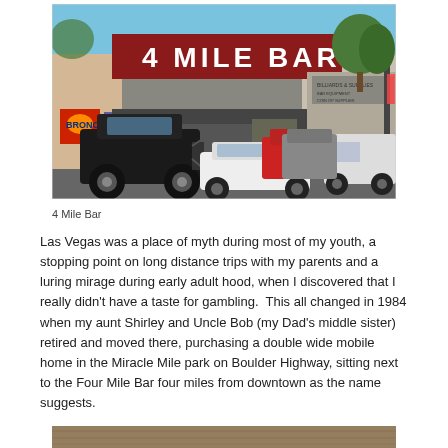[Figure (photo): Exterior photo of the 4 Mile Bar, a roadside bar with a large red sign reading '4 MILE BAR'. A black Jeep is parked in the foreground, with several other vehicles including a white sedan, red vehicle, white van, and SUV visible in the parking lot. A Denver Broncos logo is visible on the building wall. Trees are visible in the background under a blue sky.]
4 Mile Bar
Las Vegas was a place of myth during most of my youth, a stopping point on long distance trips with my parents and a luring mirage during early adult hood, when I discovered that I really didn't have a taste for gambling.  This all changed in 1984 when my aunt Shirley and Uncle Bob (my Dad's middle sister) retired and moved there, purchasing a double wide mobile home in the Miracle Mile park on Boulder Highway, sitting next to the Four Mile Bar four miles from downtown as the name suggests.
[Figure (photo): Partial view of another photograph at the bottom of the page, cut off. Shows what appears to be a wooden or rustic structure.]